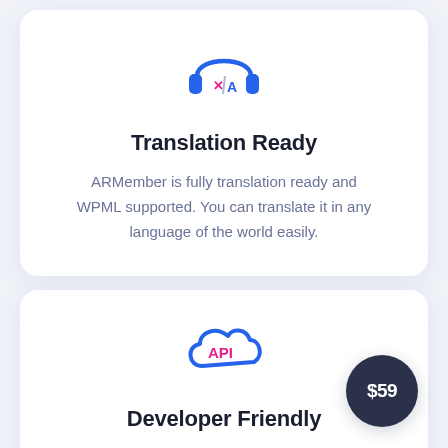[Figure (illustration): Headphones icon with translation symbols (x/A) in blue and pink, representing translation readiness]
Translation Ready
ARMember is fully translation ready and WPML supported. You can translate it in any language of the world easily.
[Figure (illustration): Cloud icon with 'API' text in pink inside, representing API/developer functionality]
Developer Friendly
$59 badge overlay
$59